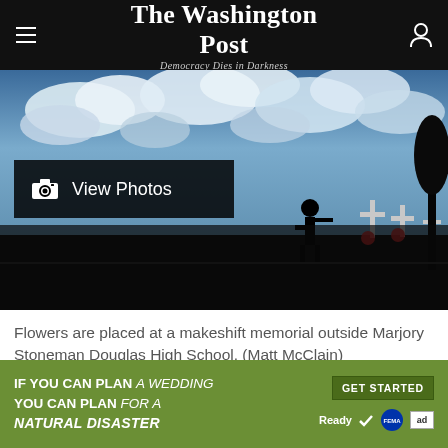The Washington Post — Democracy Dies in Darkness
[Figure (photo): Silhouette of a person placing flowers at a makeshift memorial with crosses outside Marjory Stoneman Douglas High School, against a dramatic cloudy sky. A 'View Photos' overlay with camera icon appears on the left side of the image.]
Flowers are placed at a makeshift memorial outside Marjory Stoneman Douglas High School. (Matt McClain)
IF YOU CAN PLAN A WEDDING YOU CAN PLAN FOR A NATURAL DISASTER — GET STARTED — Ready FEMA ad